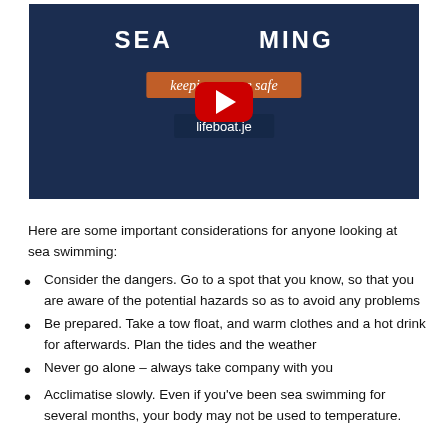[Figure (screenshot): YouTube video thumbnail for a sea swimming safety video. Dark navy blue background with white bold text 'SEA SWIMMING', an orange banner reading 'keeping everyone safe', a URL bar showing 'lifeboat.je', and a red YouTube play button in the center.]
Here are some important considerations for anyone looking at sea swimming:
Consider the dangers. Go to a spot that you know, so that you are aware of the potential hazards so as to avoid any problems
Be prepared. Take a tow float, and warm clothes and a hot drink for afterwards. Plan the tides and the weather
Never go alone – always take company with you
Acclimatise slowly. Even if you've been sea swimming for several months, your body may not be used to temperature.